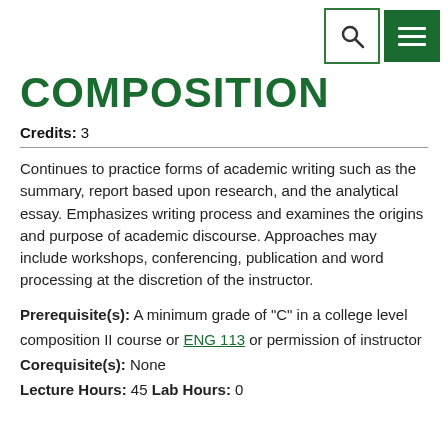[Search and Menu icons]
COMPOSITION
Credits: 3
Continues to practice forms of academic writing such as the summary, report based upon research, and the analytical essay. Emphasizes writing process and examines the origins and purpose of academic discourse. Approaches may include workshops, conferencing, publication and word processing at the discretion of the instructor.
Prerequisite(s): A minimum grade of "C" in a college level composition II course or ENG 113 or permission of instructor
Corequisite(s): None
Lecture Hours: 45 Lab Hours: 0